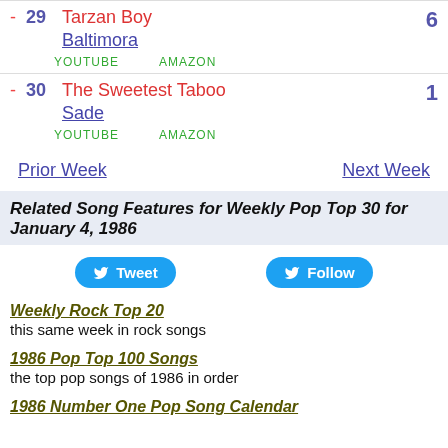- 29 Tarzan Boy Baltimora YOUTUBE AMAZON 6
- 30 The Sweetest Taboo Sade YOUTUBE AMAZON 1
Prior Week    Next Week
Related Song Features for Weekly Pop Top 30 for January 4, 1986
Tweet  Follow
Weekly Rock Top 20
this same week in rock songs
1986 Pop Top 100 Songs
the top pop songs of 1986 in order
1986 Number One Pop Song Calendar